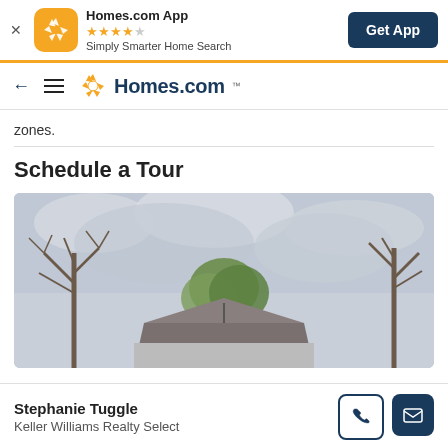Homes.com App — ★★★★☆ — Simply Smarter Home Search — Get App
← ≡ Homes.com
zones.
Schedule a Tour
[Figure (photo): Exterior photo of a house partially visible behind trees with an overcast sky]
Stephanie Tuggle
Keller Williams Realty Select